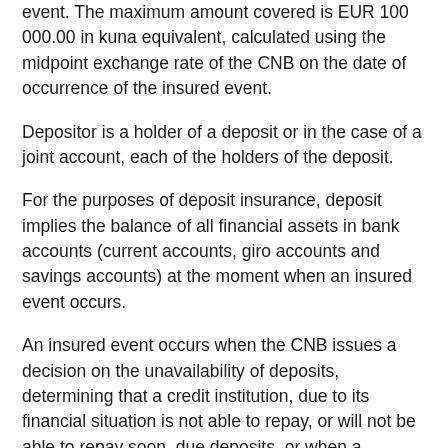event. The maximum amount covered is EUR 100 000.00 in kuna equivalent, calculated using the midpoint exchange rate of the CNB on the date of occurrence of the insured event.
Depositor is a holder of a deposit or in the case of a joint account, each of the holders of the deposit.
For the purposes of deposit insurance, deposit implies the balance of all financial assets in bank accounts (current accounts, giro accounts and savings accounts) at the moment when an insured event occurs.
An insured event occurs when the CNB issues a decision on the unavailability of deposits, determining that a credit institution, due to its financial situation is not able to repay, or will not be able to repay soon, due deposits, or when a competent court adopts a decision to open a bankruptcy proceeding against the credit institution.
All credit institutions authorised by the CNB are all...